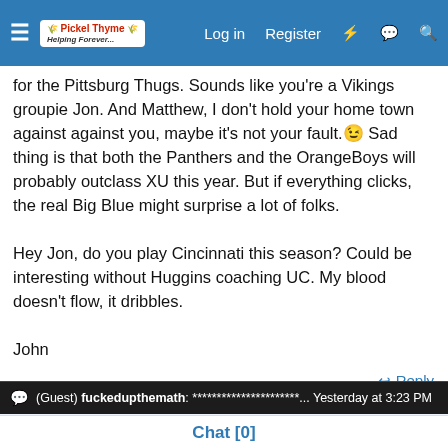Navigation bar with hamburger menu, logo, Log in, Register, and icon buttons
for the Pittsburg Thugs. Sounds like you're a Vikings groupie Jon. And Matthew, I don't hold your home town against against you, maybe it's not your fault.😉 Sad thing is that both the Panthers and the OrangeBoys will probably outclass XU this year. But if everything clicks, the real Big Blue might surprise a lot of folks.

Hey Jon, do you play Cincinnati this season? Could be interesting without Huggins coaching UC. My blood doesn't flow, it dribbles.

John
Reply
Matthew
(Guest) fuckedupthemath: **********************... Yesterday at 3:23 PM
Chat [0]